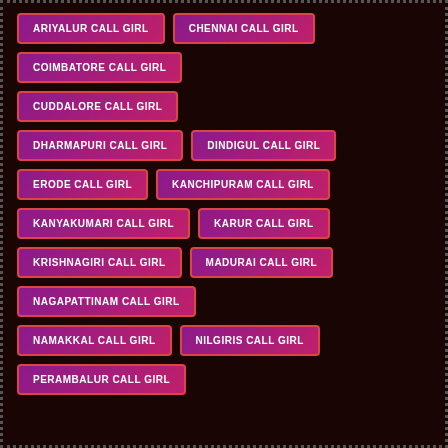ARIYALUR CALL GIRL
CHENNAI CALL GIRL
COIMBATORE CALL GIRL
CUDDALORE CALL GIRL
DHARMAPURI CALL GIRL
DINDIGUL CALL GIRL
ERODE CALL GIRL
KANCHIPURAM CALL GIRL
KANYAKUMARI CALL GIRL
KARUR CALL GIRL
KRISHNAGIRI CALL GIRL
MADURAI CALL GIRL
NAGAPATTINAM CALL GIRL
NAMAKKAL CALL GIRL
NILGIRIS CALL GIRL
PERAMBALUR CALL GIRL